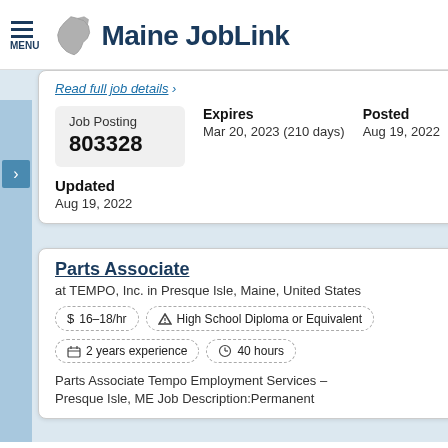Maine JobLink
Read full job details »
Job Posting 803328
Expires Mar 20, 2023 (210 days)
Posted Aug 19, 2022
Updated Aug 19, 2022
Parts Associate
at TEMPO, Inc. in Presque Isle, Maine, United States
$ 16–18/hr
High School Diploma or Equivalent
2 years experience
40 hours
Parts Associate Tempo Employment Services – Presque Isle, ME Job Description:Permanent